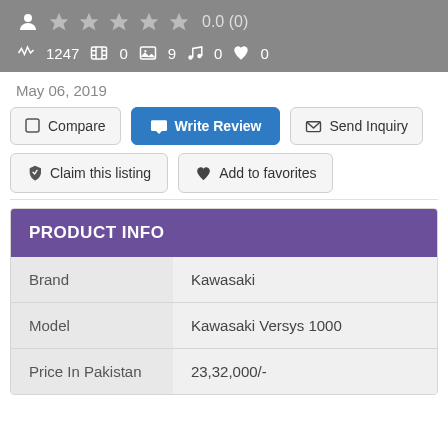[Figure (screenshot): Gray banner showing user icon, 5 empty stars rating 0.0 (0), and stats: 1247 activity, 0 videos, 9 images, 0 music, 0 favorites]
May 06, 2019
Compare | Write Review | Send Inquiry
Claim this listing | Add to favorites
PRODUCT INFO
|  |  |
| --- | --- |
| Brand | Kawasaki |
| Model | Kawasaki Versys 1000 |
| Price In Pakistan | 23,32,000/- |